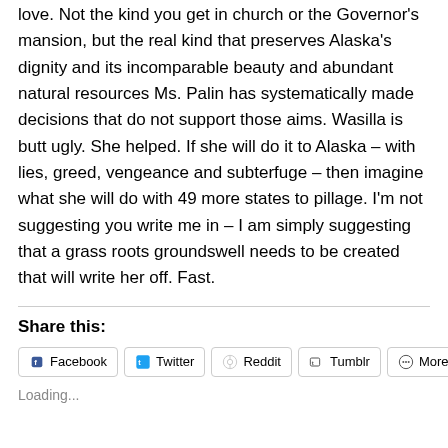love.  Not the kind you get in church or the Governor's mansion, but the real kind that preserves Alaska's dignity and its incomparable beauty and abundant natural resources  Ms. Palin has systematically made decisions that do not support those aims. Wasilla is butt ugly.  She helped.  If she will do it to Alaska – with lies, greed, vengeance and subterfuge – then imagine what she will do with 49 more states to pillage.  I'm not suggesting you write me in – I am simply suggesting that a grass roots groundswell needs to be created that will write her off.  Fast.
Share this:
Facebook
Twitter
Reddit
Tumblr
More
Loading...